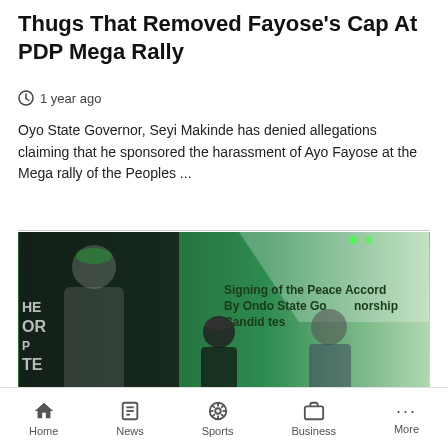Thugs That Removed Fayose's Cap At PDP Mega Rally
1 year ago
Oyo State Governor, Seyi Makinde has denied allegations claiming that he sponsored the harassment of Ayo Fayose at the Mega rally of the Peoples ...
[Figure (photo): Photo from Signing of the Peace Accord By Ondo State Governorship Candidates event showing people in green and white, with an advertisement overlay for mstreetbank.com Bank bank with an OPEN button]
Home  News  Sports  Business  More